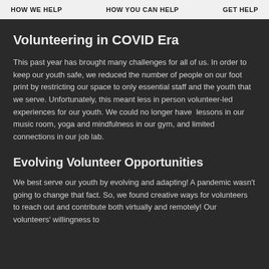HOW WE HELP   HOW YOU CAN HELP   GET HELP
Volunteering in COVID Era
This past year has brought many challenges for all of us. In order to keep our youth safe, we reduced the number of people on our foot print by restricting our space to only essential staff and the youth that we serve. Unfortunately, this meant less in person volunteer-led experiences for our youth. We could no longer have lessons in our music room, yoga and mindfulness in our gym, and limited connections in our job lab.
Evolving Volunteer Opportunities
We best serve our youth by evolving and adapting! A pandemic wasn't going to change that fact. So, we found creative ways for volunteers to reach out and contribute both virtually and remotely! Our volunteers' willingness to